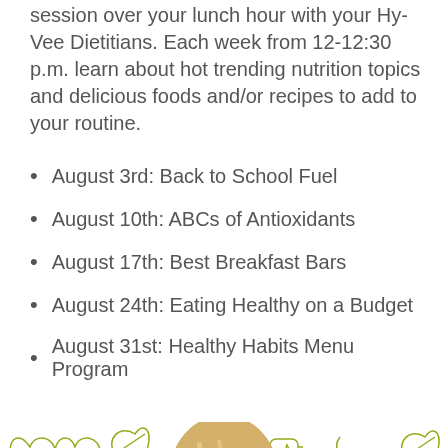session over your lunch hour with your Hy-Vee Dietitians. Each week from 12-12:30 p.m. learn about hot trending nutrition topics and delicious foods and/or recipes to add to your routine.
August 3rd: Back to School Fuel
August 10th: ABCs of Antioxidants
August 17th: Best Breakfast Bars
August 24th: Eating Healthy on a Budget
August 31st: Healthy Habits Menu Program
Sign Up Now
[Figure (illustration): Woman with blonde hair smiling, surrounded by health-themed line art icons (heart, apple, leaves, water bottle, fitness tracker, etc.) on a white background. Red 'Feedback' ribbon in bottom-right corner.]